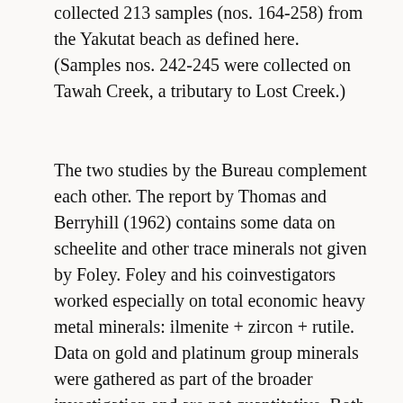collected 213 samples (nos. 164-258) from the Yakutat beach as defined here. (Samples nos. 242-245 were collected on Tawah Creek, a tributary to Lost Creek.)
The two studies by the Bureau complement each other. The report by Thomas and Berryhill (1962) contains some data on scheelite and other trace minerals not given by Foley. Foley and his coinvestigators worked especially on total economic heavy metal minerals: ilmenite + zircon + rutile. Data on gold and platinum group minerals were gathered as part of the broader investigation and are not quantitative. Both gold and platinum metals would be recovered in a large-scale placer mining operation for